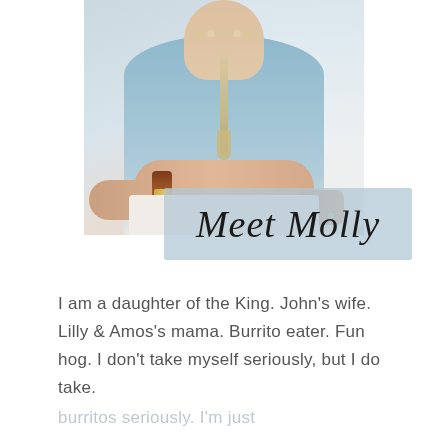[Figure (photo): A woman in a light blue top and white pants sitting cross-armed with a beaded necklace and brown leather bracelet. Photo cropped to torso area.]
Meet Molly
I am a daughter of the King. John's wife. Lilly & Amos's mama. Burrito eater. Fun hog. I don't take myself seriously, but I do take.
burritos seriously. I'm just